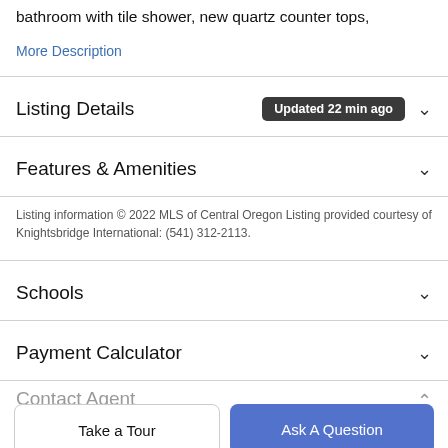bathroom with tile shower, new quartz counter tops,
More Description
Listing Details  Updated 22 min ago
Features & Amenities
Listing information © 2022 MLS of Central Oregon Listing provided courtesy of Knightsbridge International: (541) 312-2113.
Schools
Payment Calculator
Contact Agent
Take a Tour
Ask A Question